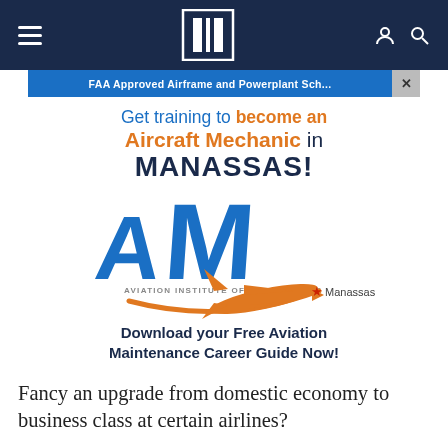Navigation bar with hamburger menu, EE logo, user and search icons
[Figure (advertisement): Aviation Institute of Maintenance advertisement. Text: 'FAA Approved Airframe and Powerplant Sc[hool]'. Get training to become an Aircraft Mechanic in MANASSAS! AIM - Aviation Institute of Maintenance logo with orange airplane and red star. Manassas. Download your Free Aviation Maintenance Career Guide Now!]
Fancy an upgrade from domestic economy to business class at certain airlines?